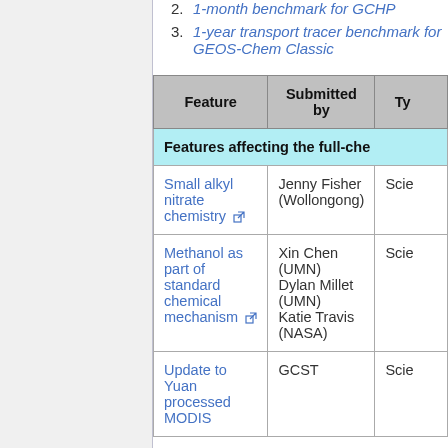2. 1-month benchmark for GCHP
3. 1-year transport tracer benchmark for GEOS-Chem Classic
| Feature | Submitted by | Type |
| --- | --- | --- |
| [section] Features affecting the full-chem... |  |  |
| Small alkyl nitrate chemistry | Jenny Fisher (Wollongong) | Scie... |
| Methanol as part of standard chemical mechanism | Xin Chen (UMN)
Dylan Millet (UMN)
Katie Travis (NASA) | Scie... |
| Update to Yuan processed MODIS | GCST | Scie... |